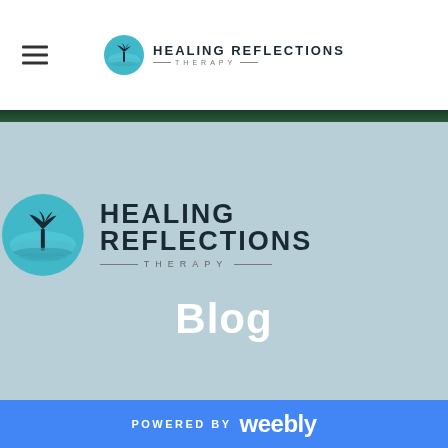Healing Reflections Therapy — navigation header with hamburger menu and logo
[Figure (logo): Healing Reflections Therapy logo — teal circle with bonsai tree silhouette and water reflection, with text HEALING REFLECTIONS THERAPY]
Blog
POWERED BY weebly